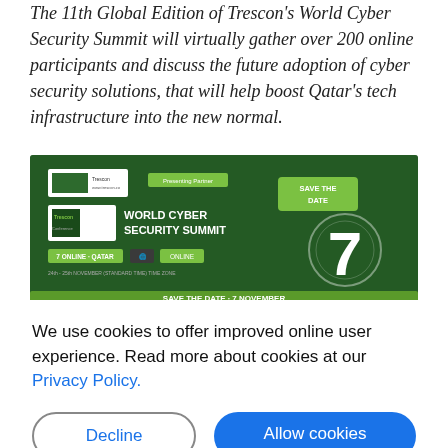The 11th Global Edition of Trescon's World Cyber Security Summit will virtually gather over 200 online participants and discuss the future adoption of cyber security solutions, that will help boost Qatar's tech infrastructure into the new normal.
[Figure (screenshot): World Cyber Security Summit promotional banner with dark green background showing 'WORLD CYBER SECURITY SUMMIT' text, 'ONLINE · QATAR · GLOBAL' tags, a 'SAVE THE DATE' badge, and a large numeral '7'.]
We use cookies to offer improved online user experience. Read more about cookies at our Privacy Policy.
Decline
Allow cookies